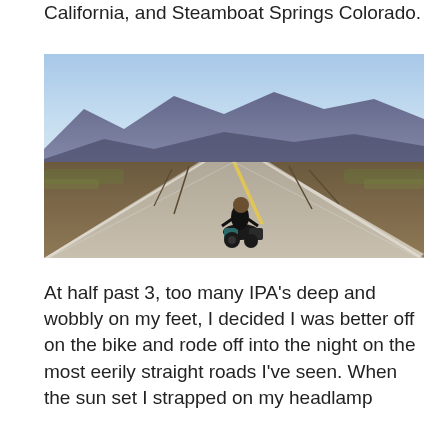California, and Steamboat Springs Colorado.
[Figure (photo): A motorcyclist riding away from the camera down a long, straight desert highway stretching to the horizon, with dramatic mountain ranges in the background under a clear blue sky. The rider is equipped with luggage on the motorcycle.]
At half past 3, too many IPA’s deep and wobbly on my feet, I decided I was better off on the bike and rode off into the night on the most eerily straight roads I’ve seen. When the sun set I strapped on my headlamp